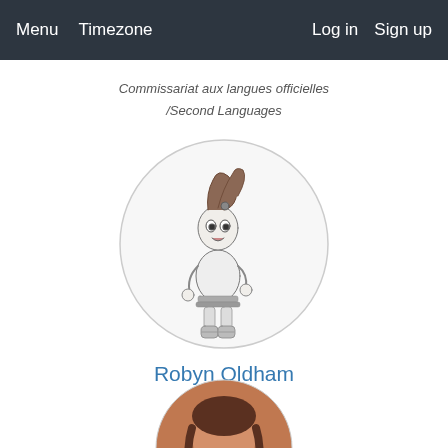Menu  Timezone  Log in  Sign up
Commissariat aux langues officielles /Second Languages
[Figure (illustration): Circular avatar image showing a pencil sketch of a cartoon girl character with a high ponytail, wide eyes, and boots, drawn in black and white.]
Robyn Oldham
SCHED Guru
[Figure (photo): Partial circular avatar showing a cropped photo of a person, partially visible at the bottom of the page.]